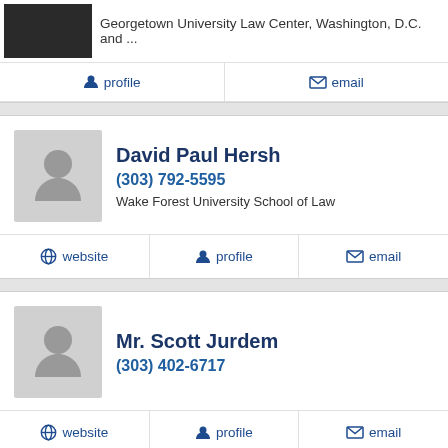Georgetown University Law Center, Washington, D.C. and ...
profile | email
David Paul Hersh
(303) 792-5595
Wake Forest University School of Law
website | profile | email
Mr. Scott Jurdem
(303) 402-6717
website | profile | email